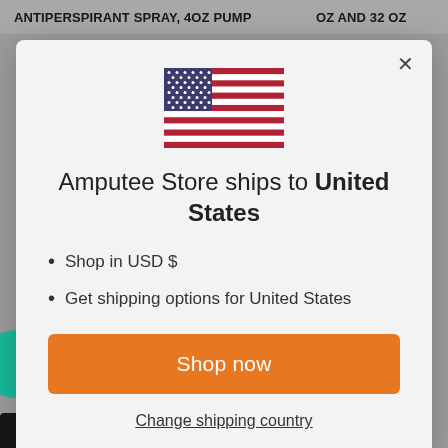ANTIPERSPIRANT SPRAY, 4OZ PUMP    OZ AND 32 OZ
[Figure (illustration): US flag SVG illustration centered in modal]
Amputee Store ships to United States
Shop in USD $
Get shipping options for United States
Shop now
Change shipping country
Rewards